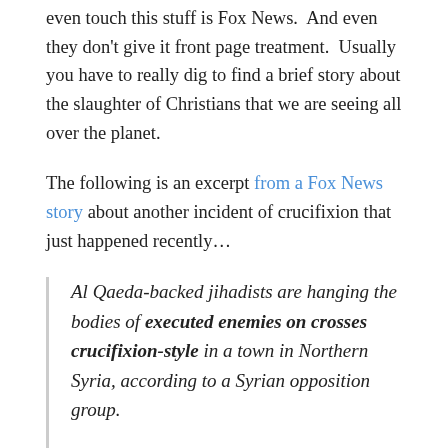even touch this stuff is Fox News. And even they don't give it front page treatment. Usually you have to really dig to find a brief story about the slaughter of Christians that we are seeing all over the planet.
The following is an excerpt from a Fox News story about another incident of crucifixion that just happened recently…
Al Qaeda-backed jihadists are hanging the bodies of executed enemies on crosses crucifixion-style in a town in Northern Syria, according to a Syrian opposition group.
The executions reportedly took place